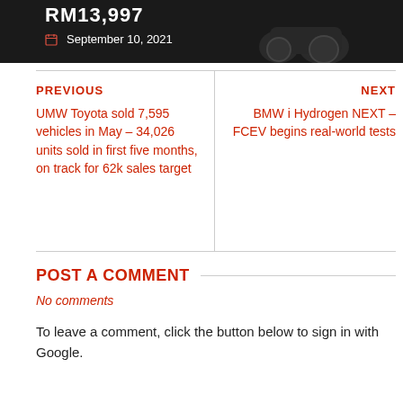[Figure (photo): Dark background image of a motorcycle with price text 'RM13,997' and date 'September 10, 2021' overlaid]
PREVIOUS
UMW Toyota sold 7,595 vehicles in May – 34,026 units sold in first five months, on track for 62k sales target
NEXT
BMW i Hydrogen NEXT – FCEV begins real-world tests
POST A COMMENT
No comments
To leave a comment, click the button below to sign in with Google.
SIGN IN WITH GOOGLE